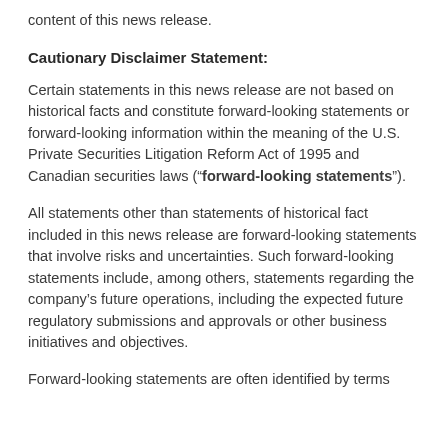content of this news release.
Cautionary Disclaimer Statement:
Certain statements in this news release are not based on historical facts and constitute forward-looking statements or forward-looking information within the meaning of the U.S. Private Securities Litigation Reform Act of 1995 and Canadian securities laws (“forward-looking statements”).
All statements other than statements of historical fact included in this news release are forward-looking statements that involve risks and uncertainties. Such forward-looking statements include, among others, statements regarding the company’s future operations, including the expected future regulatory submissions and approvals or other business initiatives and objectives.
Forward-looking statements are often identified by terms